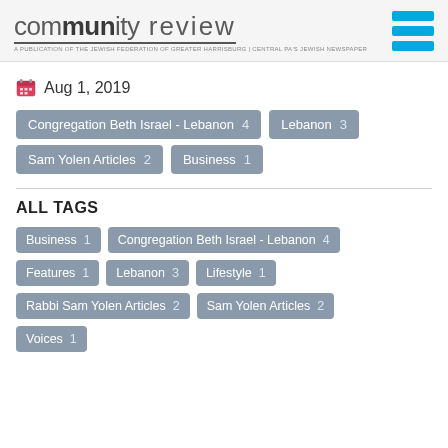community review — A PUBLICATION OF THE JEWISH FEDERATION OF GREATER HARRISBURG | CENTRAL PA'S JEWISH NEWSPAPER
Aug 1, 2019
Congregation Beth Israel - Lebanon 4
Lebanon 3
Sam Yolen Articles 2
Business 1
ALL TAGS
Business 1
Congregation Beth Israel - Lebanon 4
Features 1
Lebanon 3
Lifestyle 1
Rabbi Sam Yolen Articles 2
Sam Yolen Articles 2
Voices 1